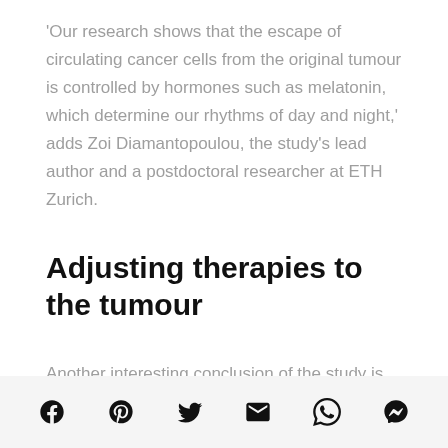'Our research shows that the escape of circulating cancer cells from the original tumour is controlled by hormones such as melatonin, which determine our rhythms of day and night,' adds Zoi Diamantopoulou, the study's lead author and a postdoctoral researcher at ETH Zurich.
Adjusting therapies to the tumour
Another interesting conclusion of the study is that the time in which tumour or blood samples are taken